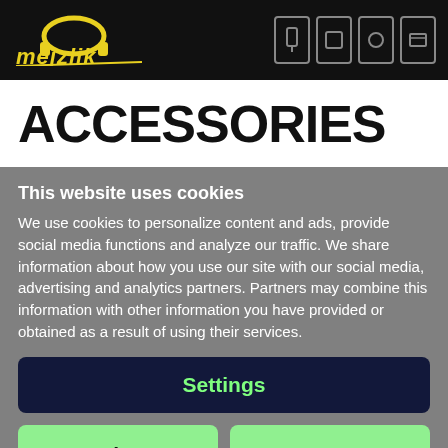mejzlik — navigation header with logo and icons
ACCESSORIES
This website uses cookies
We use cookies to personalize content and ads, provide social media functions and analyze our traffic. We share information about how you use our site with our social media, advertising and analytics partners. Partners may combine this information with other information you have provided or obtained as a result of using their services.
Settings
Reject
Accept